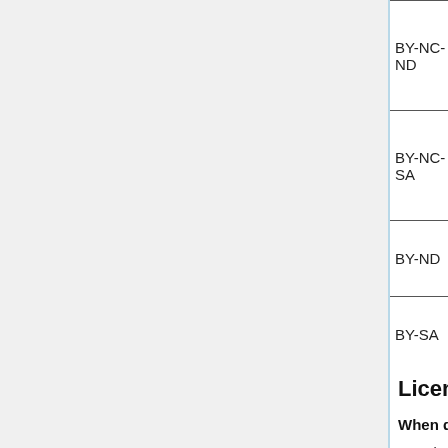| BY-NC-ND |  |  |
| BY-NC-SA |  |  |
| BY-ND |  |  |
| BY-SA |  |  |
License termination
When do Creative Commons licenses expire?
Creative Commons licenses expire when the underlying copyright and similar rights expire.
Note that the relevant rights may expire at different times. For example, you may